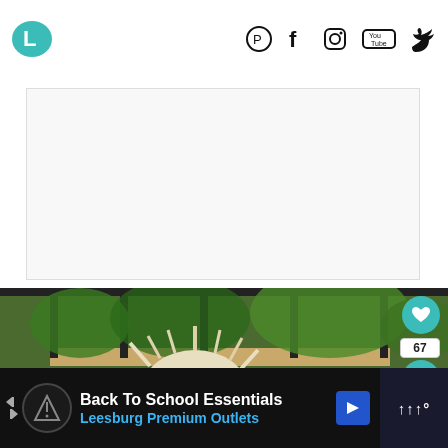L logo with social icons: Pinterest, Facebook, Instagram, YouTube, Twitter
[Figure (photo): White/blank advertisement placeholder box with light grey background]
[Figure (photo): Young blonde child with static hair standing outdoors near a wooden fence and greenery. Overlay elements: heart button (67 likes), share button, 'WHAT'S NEXT' panel showing 'DIY Animal Costumes fo...']
Back To School Essentials
Leesburg Premium Outlets